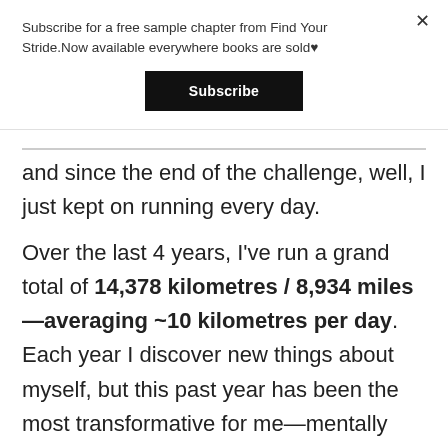Subscribe for a free sample chapter from Find Your Stride.Now available everywhere books are sold♥
Subscribe
and since the end of the challenge, well, I just kept on running every day.
Over the last 4 years, I've run a grand total of 14,378 kilometres / 8,934 miles—averaging ~10 kilometres per day. Each year I discover new things about myself, but this past year has been the most transformative for me—mentally speaking.